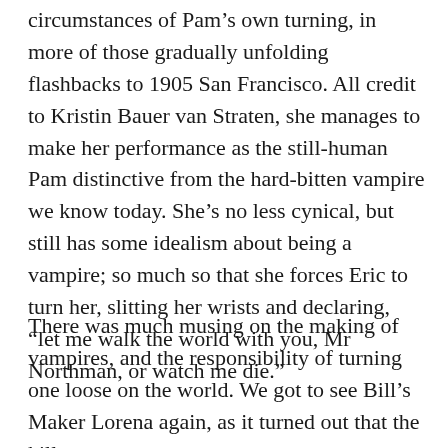circumstances of Pam's own turning, in more of those gradually unfolding flashbacks to 1905 San Francisco. All credit to Kristin Bauer van Straten, she manages to make her performance as the still-human Pam distinctive from the hard-bitten vampire we know today. She's no less cynical, but still has some idealism about being a vampire; so much so that she forces Eric to turn her, slitting her wrists and declaring, “let me walk the world with you, Mr Northman, or watch me die.”
There was much musing on the making of vampires, and the responsibility of turning one loose on the world. We got to see Bill’s Maker Lorena again, as it turned out that the killer